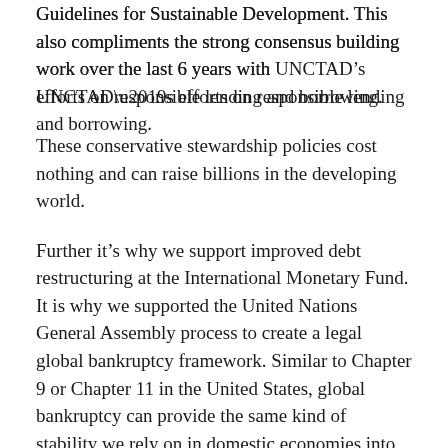Guidelines for Sustainable Development. This also compliments the strong consensus building work over the last 6 years with UNCTAD’s efforts on responsible lending and borrowing.
These conservative stewardship policies cost nothing and can raise billions in the developing world.
Further it’s why we support improved debt restructuring at the International Monetary Fund. It is why we supported the United Nations General Assembly process to create a legal global bankruptcy framework. Similar to Chapter 9 or Chapter 11 in the United States, global bankruptcy can provide the same kind of stability we rely on in domestic economies into the global financial system. Pope Francis supports such a system to provide financing to end poverty. Adam Smith the father